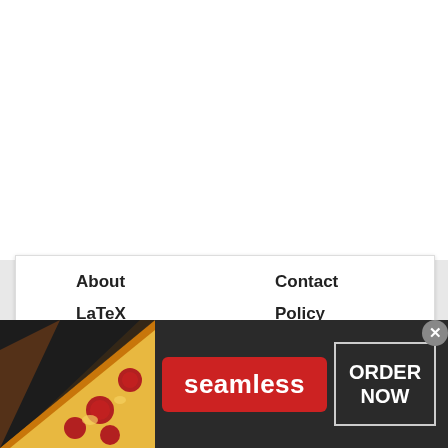About
Contact
LaTeX
Policy
TUTT
Kỷ Yếu
[Figure (screenshot): Seamless food delivery advertisement banner with pizza image on left, red Seamless logo button in center, and ORDER NOW button in a bordered box on right, with close X button, on dark background]